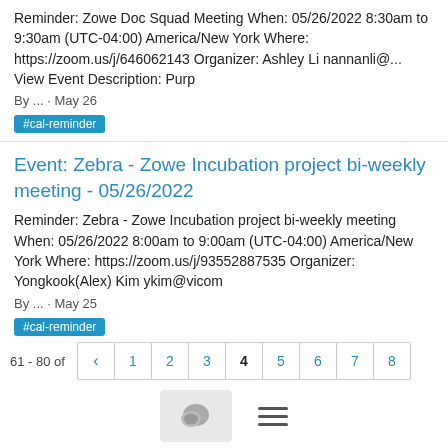Reminder: Zowe Doc Squad Meeting When: 05/26/2022 8:30am to 9:30am (UTC-04:00) America/New York Where: https://zoom.us/j/646062143 Organizer: Ashley Li nannanli@... View Event Description: Purp
By ... · May 26
#cal-reminder
Event: Zebra - Zowe Incubation project bi-weekly meeting - 05/26/2022
Reminder: Zebra - Zowe Incubation project bi-weekly meeting When: 05/26/2022 8:00am to 9:00am (UTC-04:00) America/New York Where: https://zoom.us/j/93552887535 Organizer: Yongkook(Alex) Kim ykim@vicom
By ... · May 25
#cal-reminder
61 - 80 of